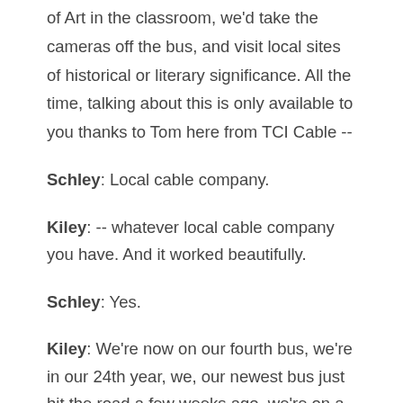of Art in the classroom, we'd take the cameras off the bus, and visit local sites of historical or literary significance. All the time, talking about this is only available to you thanks to Tom here from TCI Cable --
Schley: Local cable company.
Kiley: -- whatever local cable company you have. And it worked beautifully.
Schley: Yes.
Kiley: We're now on our fourth bus, we're in our 24th year, we, our newest bus just hit the road a few weeks ago, we're on a 50 capitals